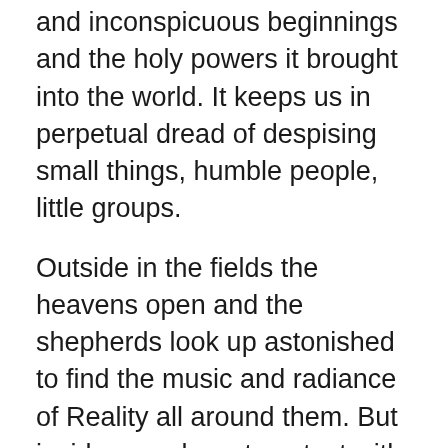and inconspicuous beginnings and the holy powers it brought into the world. It keeps us in perpetual dread of despising small things, humble people, little groups.
Outside in the fields the heavens open and the shepherds look up astonished to find the music and radiance of Reality all around them. But inside, our closest contact with that same Reality is being offered in the very simplest, homeliest way—emerging right into our ordinary life. A baby—just that. The Incarnation means that the Eternal God enters our common human life with all the energy of His creative love, to transform it, to exhibit to us its richness, its unguessed significance; speaking our language, and showing us His secret beauty on our own scale.